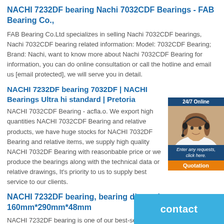NACHI 7232DF bearing Nachi 7032CDF Bearings - FAB Bearing Co.,
FAB Bearing Co.Ltd specializes in selling Nachi 7032CDF bearings, Nachi 7032CDF bearing related information: Model: 7032CDF Bearing; Brand: Nachi, want to know more about Nachi 7032CDF Bearing for information, you can do online consultation or call the hotline and email us [email protected], we will serve you in detail.
NACHI 7232DF bearing 7032DF | NACHI Bearings Ultra hi standard | Pretoria
NACHI 7032CDF Bearing - acfla.o. We export high quantities NACHI 7032CDF Bearing and relative products, we have huge stocks for NACHI 7032DF Bearing and relative items, we supply high quality NACHI 7032DF Bearing with reasonbable price or we produce the bearings along with the technical data or relative drawings, It's priority to us to supply best service to our clients.
NACHI 7232DF bearing, bearing dimensions-160mm*290mm*48mm
NACHI 7232DF bearing is one of our best-selling products. NACHI 7232DF are mainly used in construction machinery, machine tools, automobiles, metallurgy, mining, petroleum, machinery, electricity, railways and other industries. NACHI 7232DF is strictly screened and of high quality. NACHI
[Figure (photo): 24/7 Online chat widget showing female customer service representative with headset, with dark blue header saying 24/7 Online, dark blue section with italic text 'Enter any requests, click here.' and orange Quotation button]
[Figure (other): Teal/blue contact button overlay in bottom right corner with text 'contact']